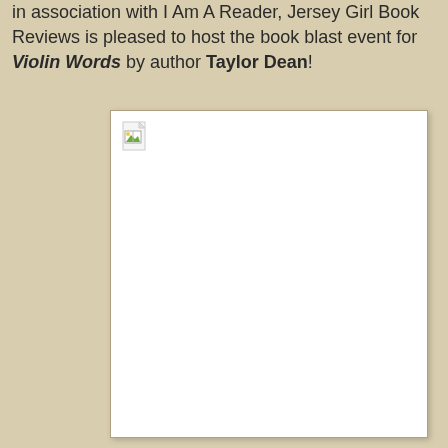in association with I Am A Reader, Jersey Girl Book Reviews is pleased to host the book blast event for Violin Words by author Taylor Dean!
[Figure (photo): A broken/missing image placeholder shown as a white rectangle with a small broken image icon in the top-left corner, styled to look like a book cover image that failed to load.]